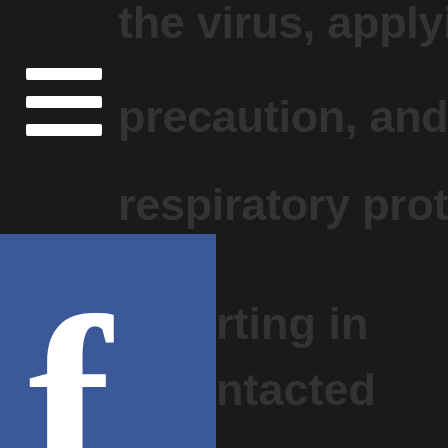the virus, applying the precaution, and recomm... respiratory protection... rting in... ntacted... inspectors to health titutions, ensuring fit... conducted, and that all... protective equipment h...
[Figure (logo): Hamburger menu icon (three white lines) on dark background]
[Figure (logo): Facebook logo (white 'f' on dark blue square)]
[Figure (logo): Twitter logo (white bird on light blue square)]
[Figure (logo): YouTube logo (white play button on red square)]
[Figure (logo): Flickr logo (blue and pink dots on light background)]
[Figure (logo): Add person / follow icon in white on dark background]
Newsletter
[Figure (logo): Globe/share icon in white on dark background]